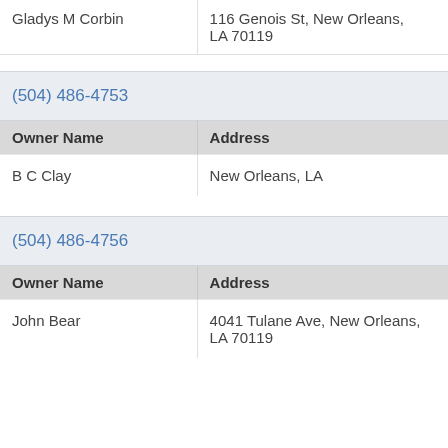| Gladys M Corbin | 116 Genois St, New Orleans, LA 70119 |
| Owner Name | Address |
| --- | --- |
| B C Clay | New Orleans, LA |
| Owner Name | Address |
| --- | --- |
| John Bear | 4041 Tulane Ave, New Orleans, LA 70119 |